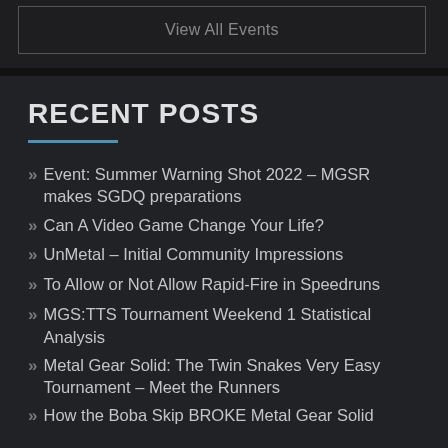View All Events
RECENT POSTS
Event: Summer Warning Shot 2022 – MGSR makes SGDQ preparations
Can A Video Game Change Your Life?
UnMetal – Initial Community Impressions
To Allow or Not Allow Rapid-Fire in Speedruns
MGS:TTS Tournament Weekend 1 Statistical Analysis
Metal Gear Solid: The Twin Snakes Very Easy Tournament – Meet the Runners
How the Boba Skip BROKE Metal Gear Solid